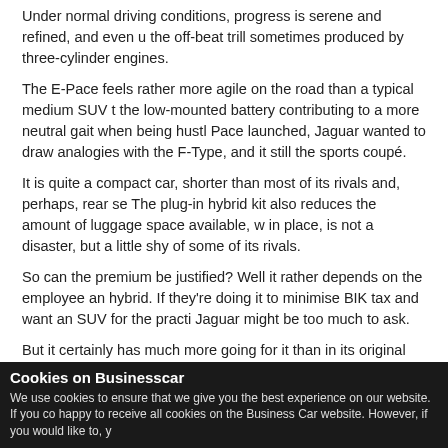Under normal driving conditions, progress is serene and refined, and even u the off-beat trill sometimes produced by three-cylinder engines.
The E-Pace feels rather more agile on the road than a typical medium SUV t the low-mounted battery contributing to a more neutral gait when being hustl Pace launched, Jaguar wanted to draw analogies with the F-Type, and it still the sports coupé.
It is quite a compact car, shorter than most of its rivals and, perhaps, rear se The plug-in hybrid kit also reduces the amount of luggage space available, w in place, is not a disaster, but a little shy of some of its rivals.
So can the premium be justified? Well it rather depends on the employee an hybrid. If they're doing it to minimise BIK tax and want an SUV for the practi Jaguar might be too much to ask.
But it certainly has much more going for it than in its original guise, whether hybrid.
Jaguar E-Pace P300E R-Dynamic S
P11D: £45,940
Cookies on Businesscar
We use cookies to ensure that we give you the best experience on our website. If you co happy to receive all cookies on the Business Car website. However, if you would like to, y